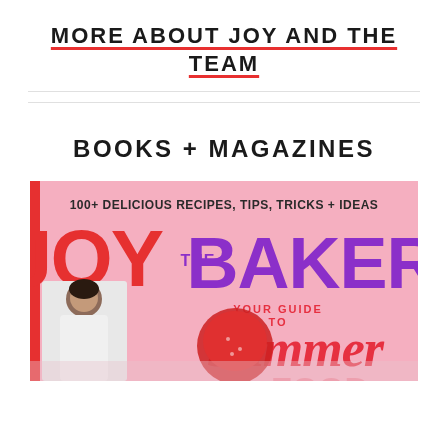MORE ABOUT JOY AND THE TEAM
BOOKS + MAGAZINES
[Figure (photo): Cover of Joy the Baker magazine showing '100+ Delicious Recipes, Tips, Tricks + Ideas' and 'Your Guide to Summer' with pink background, logo in red and purple, and a photo of a woman in white.]